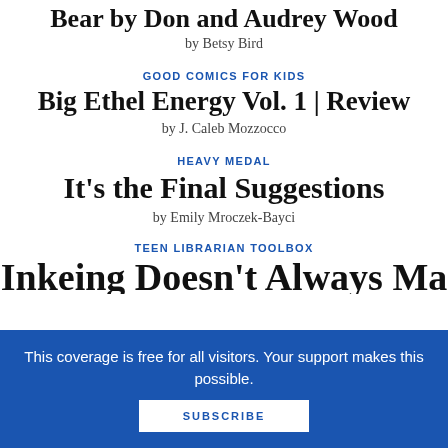Bear by Don and Audrey Wood
by Betsy Bird
GOOD COMICS FOR KIDS
Big Ethel Energy Vol. 1 | Review
by J. Caleb Mozzocco
HEAVY MEDAL
It's the Final Suggestions
by Emily Mroczek-Bayci
TEEN LIBRARIAN TOOLBOX
This coverage is free for all visitors. Your support makes this possible.
SUBSCRIBE